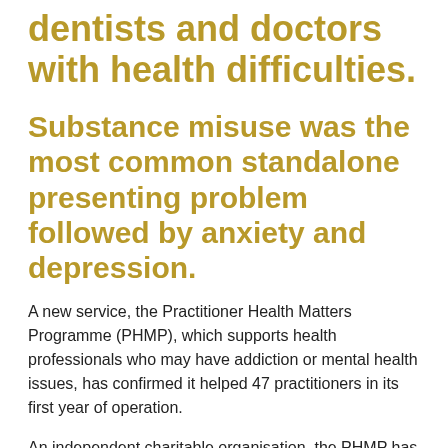dentists and doctors with health difficulties.
Substance misuse was the most common standalone presenting problem followed by anxiety and depression.
A new service, the Practitioner Health Matters Programme (PHMP), which supports health professionals who may have addiction or mental health issues, has confirmed it helped 47 practitioners in its first year of operation.
An independent charitable organisation, the PHMP has the support of the representative and training bodies for the medical, dental and pharmacy